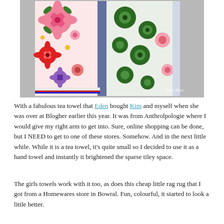[Figure (photo): A colorful floral patchwork tea towel hanging, showing multiple bright flower patterns in pink, red, green, and blue against a white background with a striped border. Watermark reads 'BabyMac' in bottom right.]
With a fabulous tea towel that Eden bought Kim and myself when she was over at Blogher earlier this year. It was from Anthrolpologie where I would give my right arm to get into. Sure, online shopping can be done, but I NEED to get to one of these stores. Somehow. And in the next little while. While it is a tea towel, it's quite small so I decided to use it as a hand towel and instantly it brightened the sparse tiley space.
The girls towels work with it too, as does this cheap little rag rug that I got from a Homewares store in Bowral. Fun, colourful, it started to look a little better.